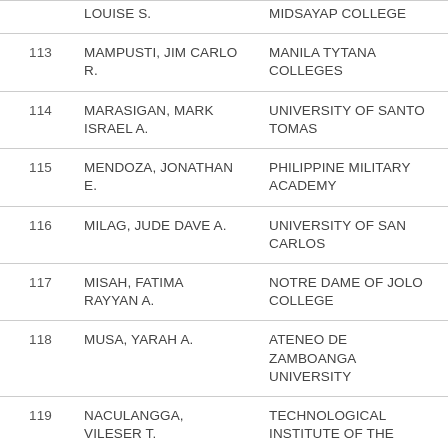| No. | Name | School |
| --- | --- | --- |
|  | LOUISE S. | MIDSAYAP COLLEGE |
| 113 | MAMPUSTI, JIM CARLO R. | MANILA TYTANA COLLEGES |
| 114 | MARASIGAN, MARK ISRAEL A. | UNIVERSITY OF SANTO TOMAS |
| 115 | MENDOZA, JONATHAN E. | PHILIPPINE MILITARY ACADEMY |
| 116 | MILAG, JUDE DAVE A. | UNIVERSITY OF SAN CARLOS |
| 117 | MISAH, FATIMA RAYYAN A. | NOTRE DAME OF JOLO COLLEGE |
| 118 | MUSA, YARAH A. | ATENEO DE ZAMBOANGA UNIVERSITY |
| 119 | NACULANGGA, VILESER T. | TECHNOLOGICAL INSTITUTE OF THE PHILIPPINES – MANILA |